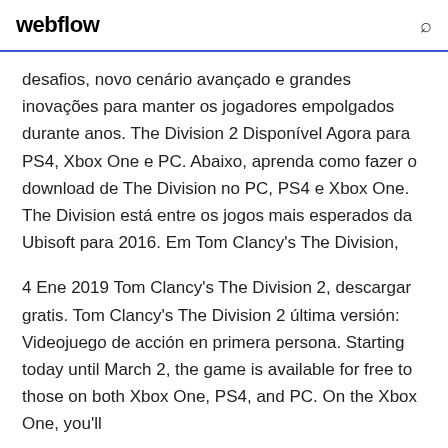webflow
desafios, novo cenário avançado e grandes inovações para manter os jogadores empolgados durante anos. The Division 2 Disponível Agora para PS4, Xbox One e PC. Abaixo, aprenda como fazer o download de The Division no PC, PS4 e Xbox One. The Division está entre os jogos mais esperados da Ubisoft para 2016. Em Tom Clancy's The Division,
4 Ene 2019 Tom Clancy's The Division 2, descargar gratis. Tom Clancy's The Division 2 última versión: Videojuego de acción en primera persona. Starting today until March 2, the game is available for free to those on both Xbox One, PS4, and PC. On the Xbox One, you'll